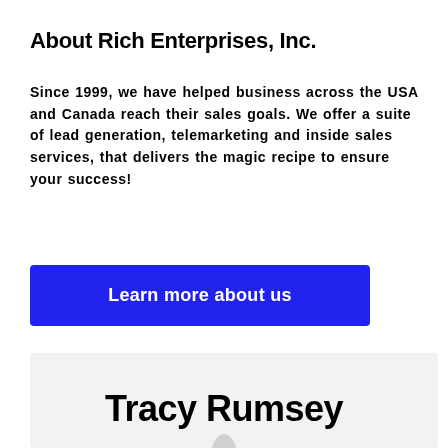About Rich Enterprises, Inc.
Since 1999, we have helped business across the USA and Canada reach their sales goals. We offer a suite of lead generation, telemarketing and inside sales services, that delivers the magic recipe to ensure your success!
[Figure (other): Blue button labeled 'Learn more about us']
Tracy Rumsey
[Figure (other): Small oval/person avatar icon in light gray]